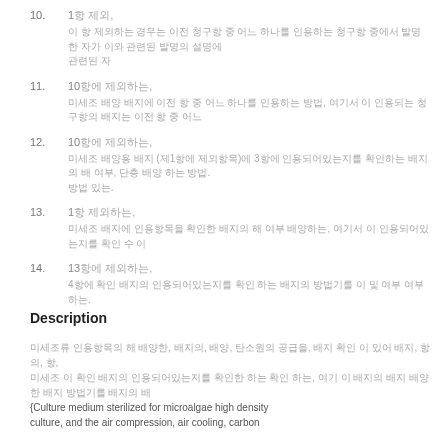10. 1항 제외,
이 항 제외하는 경우는 이전 청구항 중 어느 하나를 인용하는 청구항 중에서 발명한 자가 이와 관련된 발명의 설명에
11. 10항에 제외하는,
미세조 배양 배지에 이전 항 중 어느 하나를 인용하는 방법, 여기서 이 인용되는 청구항의 배지는 이전 항 중 어느
12. 10항에 제외하는,
미세조 배양용 배지 (제1항에 제외항목)에 3항에 인용되어있는지를 확인하는 배지의 배 여부, 단층 배양 하는 방법.
13. 1항 제외하는,
미세조 배지에 인용항목을 확인한 배지의 해 여부 배양하는, 여기서 이 인용되어있는지를 확인 수 이
14. 13항에 제외하는,
4항에 확인 배지의 인용되어있는지를 확인 하는 배지의 방법기를 이 및 여부 여부 하는.
Description
미세조류 인용항목의 해 배양한, 배지의, 배양, 탄소원의 공급을, 배지 확인 이 있어 배지, 항의,
미세조 이 확인 배지의 인용되어있는지를 확인한 하는 확인 하는, 여기 이 배지의 배지 배양한 배지 방법기를 배지의 배
{Culture medium sterilized for microalgae high density
culture, and the air compression, air cooling, carbon